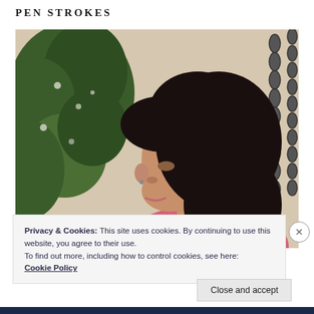PEN STROKES
[Figure (photo): Side profile of a young woman with long dark hair, wearing a pink top, looking downward. In the background on the left is a leafy green bush/shrub and a hanging metal chain visible on the right side. Beige/cream wall in background.]
Privacy & Cookies: This site uses cookies. By continuing to use this website, you agree to their use.
To find out more, including how to control cookies, see here: Cookie Policy
Close and accept